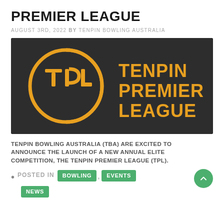PREMIER LEAGUE
AUGUST 3RD, 2022 BY TENPIN BOWLING AUSTRALIA
[Figure (logo): Tenpin Premier League logo on dark background. Gold/orange circular emblem with TPL letters and text 'TENPIN PREMIER LEAGUE' in bold gold.]
TENPIN BOWLING AUSTRALIA (TBA) ARE EXCITED TO ANNOUNCE THE LAUNCH OF A NEW ANNUAL ELITE COMPETITION, THE TENPIN PREMIER LEAGUE (TPL).
POSTED IN BOWLING , EVENTS NEWS